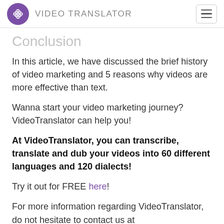VIDEO TRANSLATOR
Conclusion
In this article, we have discussed the brief history of video marketing and 5 reasons why videos are more effective than text.
Wanna start your video marketing journey? VideoTranslator can help you!
At VideoTranslator, you can transcribe, translate and dub your videos into 60 different languages and 120 dialects!
Try it out for FREE here!
For more information regarding VideoTranslator, do not hesitate to contact us at hello@videotranslator.ai.